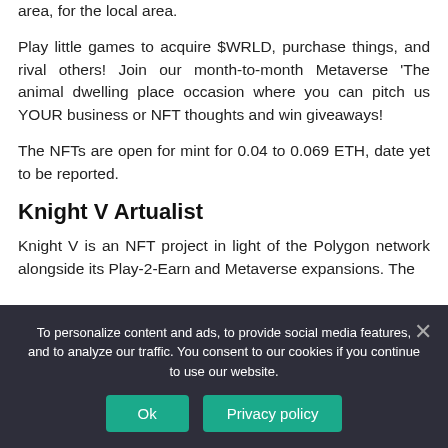area, for the local area.
Play little games to acquire $WRLD, purchase things, and rival others! Join our month-to-month Metaverse 'The animal dwelling place occasion where you can pitch us YOUR business or NFT thoughts and win giveaways!
The NFTs are open for mint for 0.04 to 0.069 ETH, date yet to be reported.
Knight V Artualist
Knight V is an NFT project in light of the Polygon network alongside its Play-2-Earn and Metaverse expansions. The NFT...
To personalize content and ads, to provide social media features, and to analyze our traffic. You consent to our cookies if you continue to use our website.